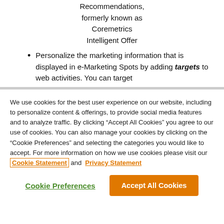Recommendations, formerly known as Coremetrics Intelligent Offer
Personalize the marketing information that is displayed in e-Marketing Spots by adding targets to web activities. You can target
We use cookies for the best user experience on our website, including to personalize content & offerings, to provide social media features and to analyze traffic. By clicking “Accept All Cookies” you agree to our use of cookies. You can also manage your cookies by clicking on the "Cookie Preferences" and selecting the categories you would like to accept. For more information on how we use cookies please visit our Cookie Statement and Privacy Statement
Cookie Preferences
Accept All Cookies